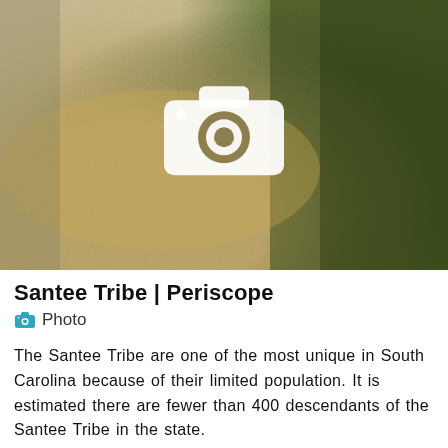[Figure (photo): Aerial or overhead photo of a river/sandy area with trees on the right, showing a camera icon overlay indicating a photo placeholder]
Santee Tribe | Periscope
Photo
The Santee Tribe are one of the most unique in South Carolina because of their limited population. It is estimated there are fewer than 400 descendants of the Santee Tribe in the state.
[Figure (map): Map of South Carolina showing rivers and towns including Keowee River, Tokeena, Enoree, Cheraw, Dee River, Waccamaw River, Oswego, Pee Dee, Pamlico, and other locations with red and blue river markings]